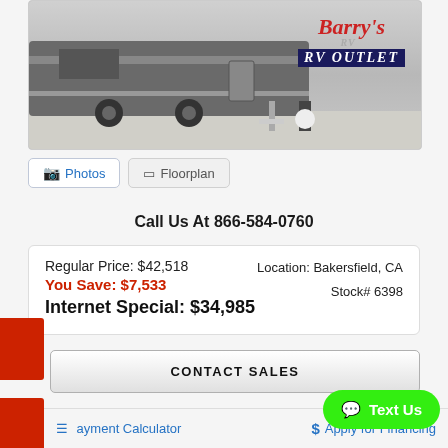[Figure (photo): RV trailer parked outdoors with Barry's RV Outlet logo in top right corner]
Photos   Floorplan
Call Us At 866-584-0760
Regular Price: $42,518
You Save: $7,533
Internet Special: $34,985
Location: Bakersfield, CA
Stock# 6398
CONTACT SALES
Text Us
Payment Calculator   Apply for Financing